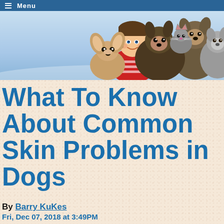☰ Menu
[Figure (photo): Hero banner image showing a smiling young girl with braided hair surrounded by several pets including dogs, cats, and a chihuahua, on a blue gradient background]
What To Know About Common Skin Problems in Dogs
By Barry KuKes
Fri, Dec 07, 2018 at 3:49PM